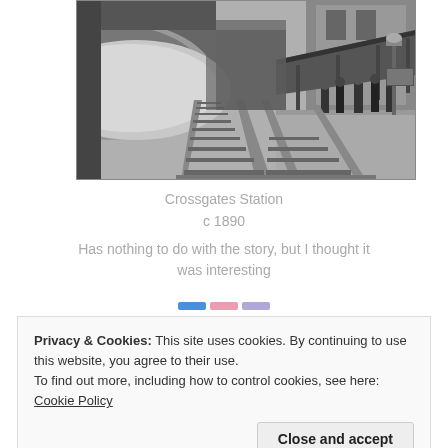[Figure (photo): Black and white historical photograph of Crossgates Station circa 1890, showing railway tracks in foreground, a stone bridge overhead, a platform with a station building on the right, and several people standing on the platform.]
Crossgates Station
c 1890
Has nothing to do with the story, but I thought it was interesting
Privacy & Cookies: This site uses cookies. By continuing to use this website, you agree to their use.
To find out more, including how to control cookies, see here: Cookie Policy